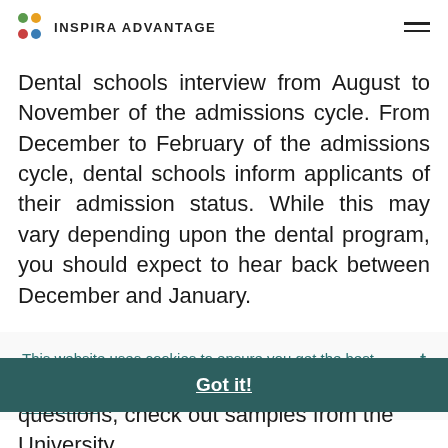INSPIRA ADVANTAGE
Dental schools interview from August to November of the admissions cycle. From December to February of the admissions cycle, dental schools inform applicants of their admission status. While this may vary depending upon the dental program, you should expect to hear back between December and January.
This website uses cookies to ensure you get the best experience on our website.
Learn more
Got it!
questions, check out samples from the University